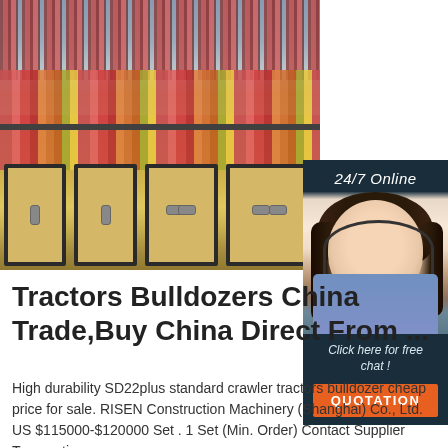[Figure (photo): Photo of a store/deli display case with hanging meat products and food items in a refrigerated counter, with cabinets below]
[Figure (photo): Advertisement banner showing a woman with a headset (customer service representative), with '24/7 Online' text, 'Click here for free chat!' text, and an orange QUOTATION button]
Tractors Bulldozers China Trade,Buy China Direct From ...
High durability SD22plus standard crawler tractors bulldozer cheap price for sale. RISEN Construction Machinery (Shanghai) Co., Ltd. US $115000-$120000 Set . 1 Set (Min. Order) Contact Supplier Transaction